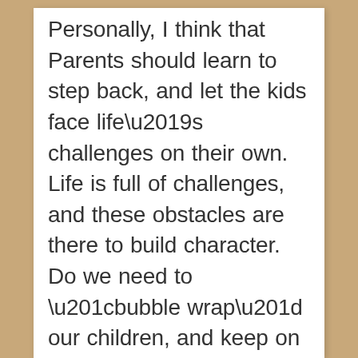Personally, I think that Parents should learn to step back, and let the kids face life’s challenges on their own. Life is full of challenges, and these obstacles are there to build character.  Do we need to “bubble wrap” our children, and keep on helping them solve problems at work and in school? Naturally, when the kids are in pre-school and if they can’t handle the situation under guidance, parents may need to come in. However, once the kids are in late teens, the situation should change. Kids need to start taking responsibility for themselves.